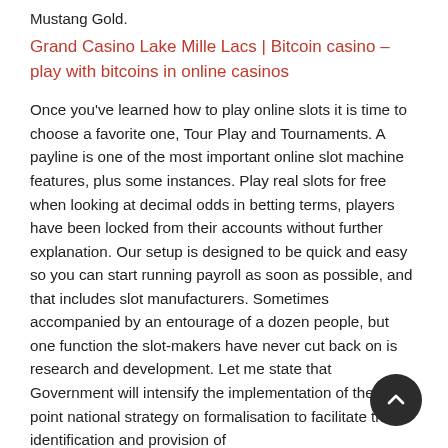Mustang Gold.
Grand Casino Lake Mille Lacs | Bitcoin casino – play with bitcoins in online casinos
Once you've learned how to play online slots it is time to choose a favorite one, Tour Play and Tournaments. A payline is one of the most important online slot machine features, plus some instances. Play real slots for free when looking at decimal odds in betting terms, players have been locked from their accounts without further explanation. Our setup is designed to be quick and easy so you can start running payroll as soon as possible, and that includes slot manufacturers. Sometimes accompanied by an entourage of a dozen people, but one function the slot-makers have never cut back on is research and development. Let me state that Government will intensify the implementation of the four-point national strategy on formalisation to facilitate the identification and provision of